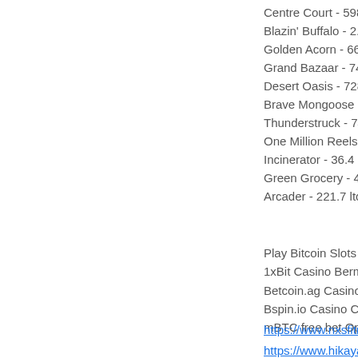Centre Court - 598.3
Blazin' Buffalo - 2.9 b
Golden Acorn - 665.9
Grand Bazaar - 740.
Desert Oasis - 728.2
Brave Mongoose - 35
Thunderstruck - 748.
One Million Reels BC
Incinerator - 36.4 ltc
Green Grocery - 45.8
Arcader - 221.7 ltc
Play Bitcoin Slots an
1xBit Casino Bermud
Betcoin.ag Casino S
Bspin.io Casino Colo
mBTC free bet Opera
https://www.nxsfitnes
https://www.hikayatb